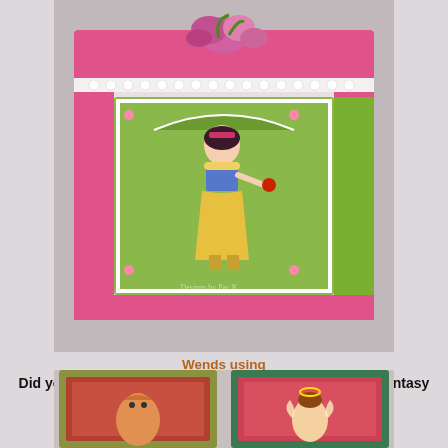[Figure (photo): A decorative pink and white keepsake box with a Snow White fairy-tale character illustration on the front panel, flowers on top, and pearl embellishments along the top edge.]
Wends using
Did you ask for a Fairy?, The Dragon Whisperer & My Fantasy Pet
[Figure (photo): Two greeting cards side by side: left card has an olive/gold frame with a dragon character, right card has a green frame with a fairy character.]